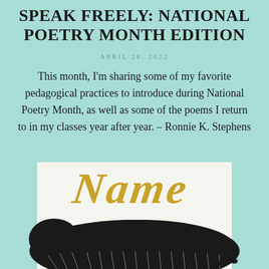SPEAK FREELY: NATIONAL POETRY MONTH EDITION
APRIL 20, 2022
This month, I'm sharing some of my favorite pedagogical practices to introduce during National Poetry Month, as well as some of the poems I return to in my classes year after year. – Ronnie K. Stephens
[Figure (illustration): Book cover illustration showing the word 'NAME' in large gold brushstroke lettering above a large black illustrated animal (possibly a bear or bison) lying in grass, woodcut/linocut style artwork on white background, partially cropped]